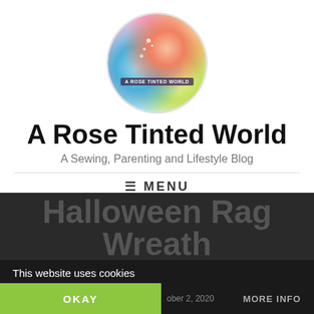[Figure (logo): Circular logo with colorful rose illustration and text 'A ROSE TINTED WORLD' overlaid]
A Rose Tinted World
A Sewing, Parenting and Lifestyle Blog
≡ MENU
How To Make A Halloween Rag Wreath
This website uses cookies
OKAY
ober 2, 2020
MORE INFO